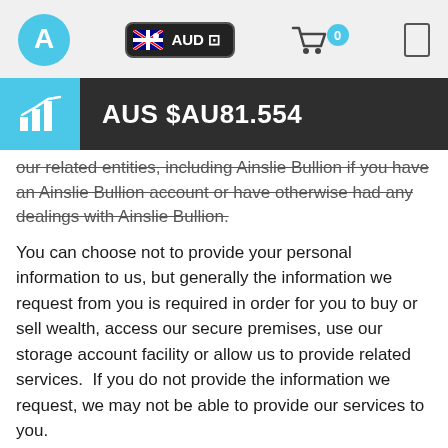[Figure (screenshot): Ainslie Bullion website header with logo, AUD currency selector, shopping cart with 0 items, and menu icon]
[Figure (infographic): Price bar showing chart icon on cyan background and price AUS $AU81.554 on dark background]
our related entities, including Ainslie Bullion if you have an Ainslie Bullion account or have otherwise had any dealings with Ainslie Bullion.
You can choose not to provide your personal information to us, but generally the information we request from you is required in order for you to buy or sell wealth, access our secure premises, use our storage account facility or allow us to provide related services.  If you do not provide the information we request, we may not be able to provide our services to you.
We also collect information about your computer hardware and software.  This information may include your IP